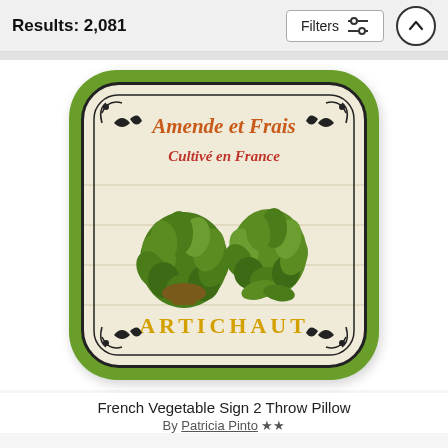Results: 2,081
[Figure (photo): A decorative throw pillow with a French vintage vegetable market label design. The pillow has a green border with a cream/beige background. Text on pillow reads 'Amende et Frais' in orange-brown italic script at top, 'Cultivé en France' in red italic below that, two artichoke illustrations in the center, and 'ARTICHAUT' in large gold letters at the bottom. Ornate black corner decorations frame the design.]
French Vegetable Sign 2 Throw Pillow